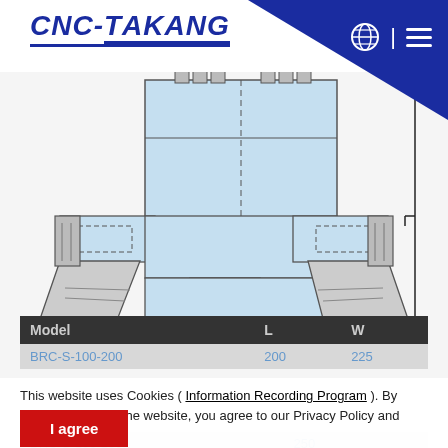CNC-TAKANG
[Figure (engineering-diagram): Technical/engineering schematic drawing of a CNC machine component (steady rest or similar), showing a front view with two symmetrical clamping arms, a central body with light blue fill, mounting pins at the top, and a vertical dimension arrow on the right side.]
| Model | L | W |
| --- | --- | --- |
| BRC-S-100-200 | 200 | 225 |
| BRC-S-100-250 | 250 |  |
This website uses Cookies ( Information Recording Program ). By continuing to use the website, you agree to our Privacy Policy and Cookies.
[Figure (other): I agree button (red background, white text)]